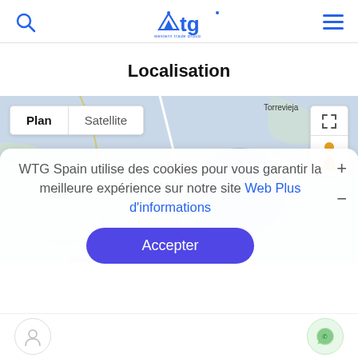WTG western trade group logo, search icon, menu icon
Localisation
[Figure (map): Google Maps-style map showing area around Torrevieja, Spain including La Zenia, Dehesa de Campoamor, Sucina, AP-7 highway. Blue circle overlay indicating location. Map/Satellite toggle and fullscreen/street view controls visible.]
WTG Spain utilise des cookies pour vous garantir la meilleure expérience sur notre site Web Plus d'informations
Accepter